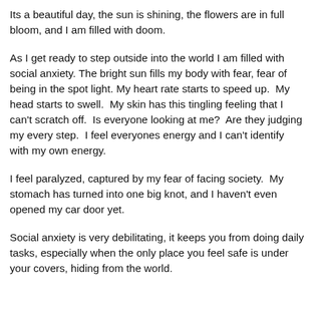Its a beautiful day, the sun is shining, the flowers are in full bloom, and I am filled with doom.
As I get ready to step outside into the world I am filled with social anxiety. The bright sun fills my body with fear, fear of being in the spot light. My heart rate starts to speed up.  My head starts to swell.  My skin has this tingling feeling that I can't scratch off.  Is everyone looking at me?  Are they judging my every step.  I feel everyones energy and I can't identify with my own energy.
I feel paralyzed, captured by my fear of facing society.  My stomach has turned into one big knot, and I haven't even opened my car door yet.
Social anxiety is very debilitating, it keeps you from doing daily tasks, especially when the only place you feel safe is under your covers, hiding from the world.